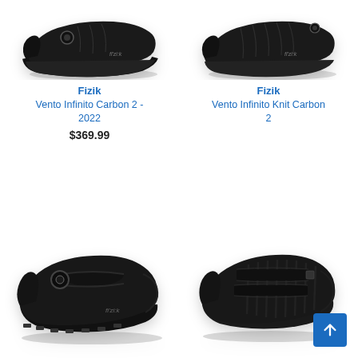[Figure (photo): Black Fizik Vento Infinito Carbon 2 - 2022 cycling shoe, side view, top-left]
[Figure (photo): Black Fizik Vento Infinito Knit Carbon 2 cycling shoe, side view, top-right]
Fizik
Vento Infinito Carbon 2 - 2022
$369.99
Fizik
Vento Infinito Knit Carbon 2
[Figure (photo): Black Fizik MTB/gravel cycling shoe with BOA dial, side view, bottom-left]
[Figure (photo): Black Fizik road cycling shoe with velcro/strap closure, side view, bottom-right]